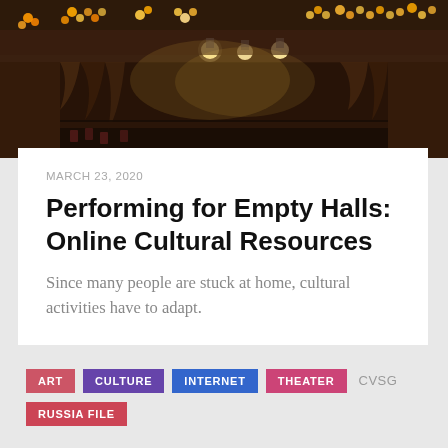[Figure (photo): Interior of a theater hall with stage lighting rigs visible, rows of audience seating in the background, warm amber/brown tones]
MARCH 23, 2020
Performing for Empty Halls: Online Cultural Resources
Since many people are stuck at home, cultural activities have to adapt.
ART
CULTURE
INTERNET
THEATER
CVSG
RUSSIA FILE